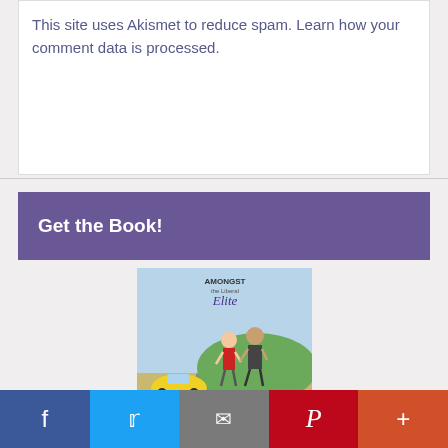This site uses Akismet to reduce spam. Learn how your comment data is processed.
Get the Book!
[Figure (photo): Book cover for 'Amongst the Liberal Elite' showing two people walking on a road with a yellow car in the background]
Social share bar with Facebook, Twitter, Email, Pinterest, and More buttons